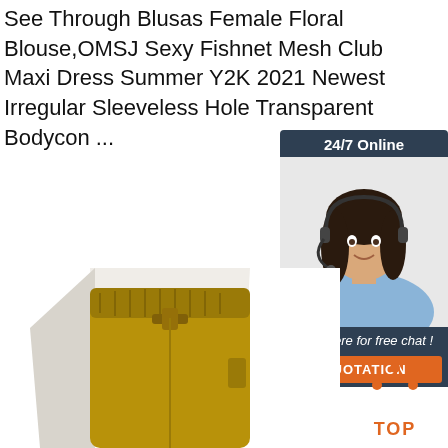See Through Blusas Female Floral Blouse,OMSJ Sexy Fishnet Mesh Club Maxi Dress Summer Y2K 2021 Newest Irregular Sleeveless Hole Transparent Bodycon ...
[Figure (other): Orange 'Get Price' button]
[Figure (other): 24/7 Online chat widget with photo of woman with headset, 'Click here for free chat!' text, and orange QUOTATION button]
[Figure (photo): Product photo of mustard yellow high-waisted trousers/pants on a mannequin]
[Figure (other): Orange 'TOP' button with dot triangle icon]